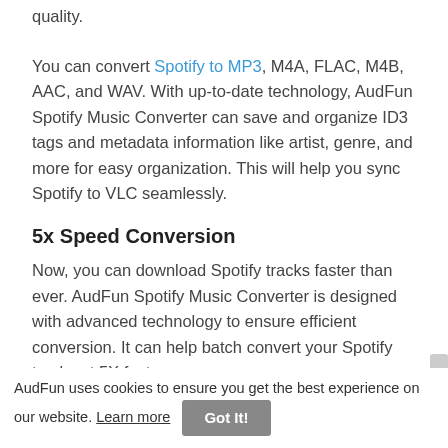quality.
You can convert Spotify to MP3, M4A, FLAC, M4B, AAC, and WAV. With up-to-date technology, AudFun Spotify Music Converter can save and organize ID3 tags and metadata information like artist, genre, and more for easy organization. This will help you sync Spotify to VLC seamlessly.
5x Speed Conversion
Now, you can download Spotify tracks faster than ever. AudFun Spotify Music Converter is designed with advanced technology to ensure efficient conversion. It can help batch convert your Spotify tracks at 5X faster now.
AudFun uses cookies to ensure you get the best experience on our website. Learn more  Got It!